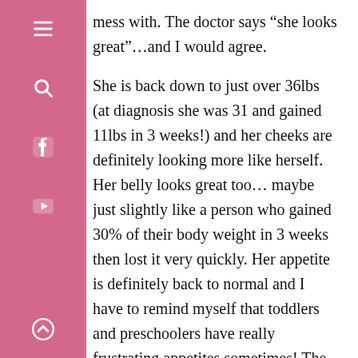mess with. The doctor says “she looks great”…and I would agree.
She is back down to just over 36lbs (at diagnosis she was 31 and gained 11lbs in 3 weeks!) and her cheeks are definitely looking more like herself. Her belly looks great too…maybe just slightly like a person who gained 30% of their body weight in 3 weeks then lost it very quickly. Her appetite is definitely back to normal and I have to remind myself that toddlers and preschoolers have really frustrating appetites sometimes! The mommy in me gets nervous when she doesn’t eat much but the dietitian in me has to just